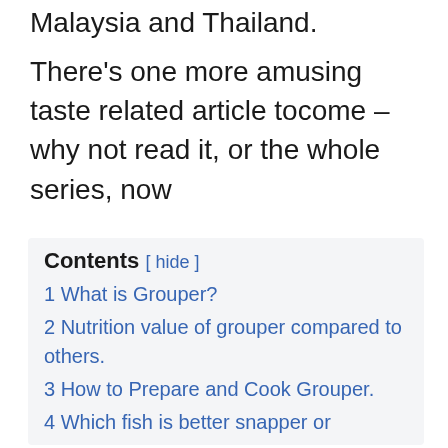Malaysia and Thailand.
There's one more amusing taste related article tocome – why not read it, or the whole series, now
Contents [ hide ]
1 What is Grouper?
2 Nutrition value of grouper compared to others.
3 How to Prepare and Cook Grouper.
4 Which fish is better snapper or